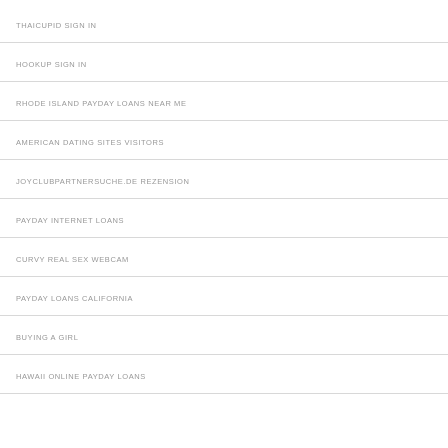THAICUPID SIGN IN
HOOKUP SIGN IN
RHODE ISLAND PAYDAY LOANS NEAR ME
AMERICAN DATING SITES VISITORS
JOYCLUBPARTNERSUCHE.DE REZENSION
PAYDAY INTERNET LOANS
CURVY REAL SEX WEBCAM
PAYDAY LOANS CALIFORNIA
BUYING A GIRL
HAWAII ONLINE PAYDAY LOANS